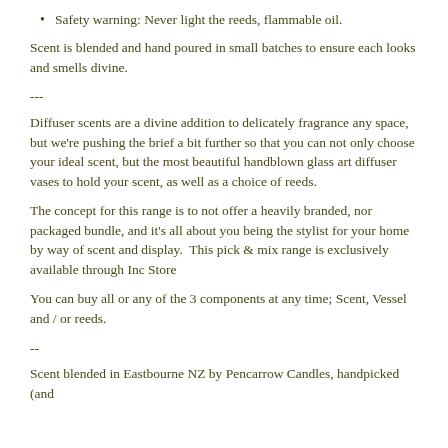Safety warning: Never light the reeds, flammable oil.
Scent is blended and hand poured in small batches to ensure each looks and smells divine.
---
Diffuser scents are a divine addition to delicately fragrance any space, but we're pushing the brief a bit further so that you can not only choose your ideal scent, but the most beautiful handblown glass art diffuser vases to hold your scent, as well as a choice of reeds.
The concept for this range is to not offer a heavily branded, nor packaged bundle, and it's all about you being the stylist for your home by way of scent and display.  This pick & mix range is exclusively available through Inc Store
You can buy all or any of the 3 components at any time; Scent, Vessel and / or reeds.
--
Scent blended in Eastbourne NZ by Pencarrow Candles, handpicked (and